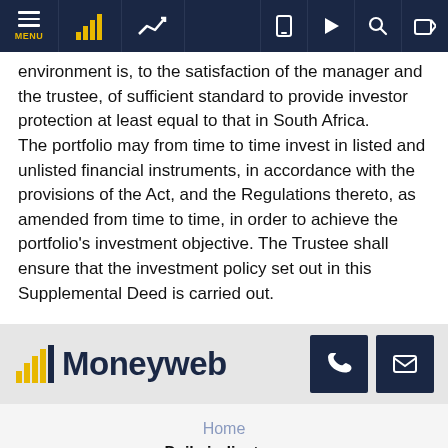Moneyweb navigation bar
environment is, to the satisfaction of the manager and the trustee, of sufficient standard to provide investor protection at least equal to that in South Africa.
The portfolio may from time to time invest in listed and unlisted financial instruments, in accordance with the provisions of the Act, and the Regulations thereto, as amended from time to time, in order to achieve the portfolio's investment objective. The Trustee shall ensure that the investment policy set out in this Supplemental Deed is carried out.
[Figure (logo): Moneyweb logo with bar chart icon in yellow and dark navy wordmark]
Home
Daily indicators
Click ...